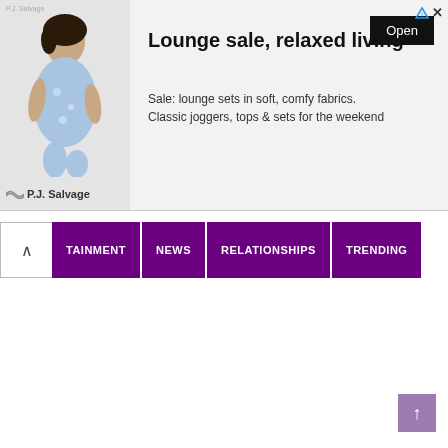[Figure (other): Advertisement banner for P.J. Salvage featuring a woman in loungewear, with the heading 'Lounge sale, relaxed living', description text 'Sale: lounge sets in soft, comfy fabrics. Classic joggers, tops & sets for the weekend', and an 'Open' button. Has close (X) and ad info (triangle) icons in top right corner.]
ENTERTAINMENT  NEWS  RELATIONSHIPS  TRENDING